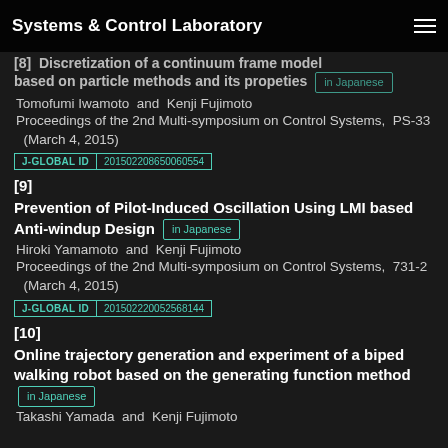Systems & Control Laboratory
[8] Discretization of a continuum frame model based on particle methods and its propeties in Japanese
Tomofumi Iwamoto  and  Kenji Fujimoto
Proceedings of the 2nd Multi-symposium on Control Systems,  PS-33  (March 4, 2015)
J-GLOBAL ID  201502208650060554
[9] Prevention of Pilot-Induced Oscillation Using LMI based Anti-windup Design  in Japanese
Hiroki Yamamoto  and  Kenji Fujimoto
Proceedings of the 2nd Multi-symposium on Control Systems,  731-2  (March 4, 2015)
J-GLOBAL ID  201502220052568144
[10] Online trajectory generation and experiment of a biped walking robot based on the generating function method  in Japanese
Takashi Yamada  and  Kenji Fujimoto